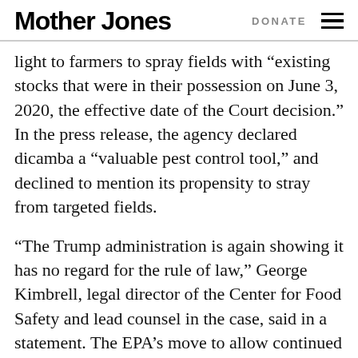Mother Jones | DONATE
light to farmers to spray fields with “existing stocks that were in their possession on June 3, 2020, the effective date of the Court decision.” In the press release, the agency declared dicamba a “valuable pest control tool,” and declined to mention its propensity to stray from targeted fields.
“The Trump administration is again showing it has no regard for the rule of law,” George Kimbrell, legal director of the Center for Food Safety and lead counsel in the case, said in a statement. The EPA’s move to allow continued dicamba spraying “ignores the well-documented and overwhelming evidence of substantial drift harm to farmers from another